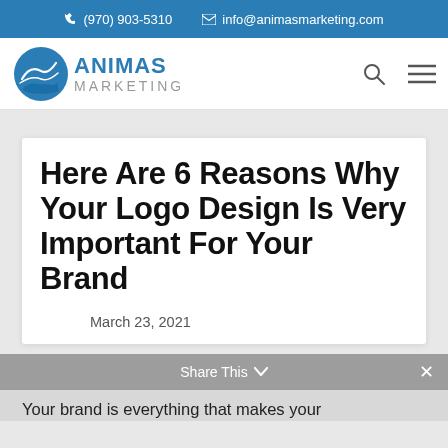(970) 903-5310   info@animasmarketing.com
[Figure (logo): Animas Marketing logo with mountain/wave icon and text ANIMAS MARKETING]
Here Are 6 Reasons Why Your Logo Design Is Very Important For Your Brand
March 23, 2021
Share This
Your brand is everything that makes your